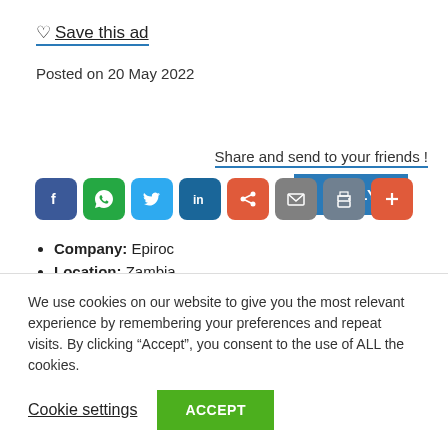♡ Save this ad
Posted on 20 May 2022
APPLY
Share and send to your friends !
[Figure (other): Row of 8 social sharing icon buttons: Facebook, WhatsApp, Twitter, LinkedIn, a share icon, Email, Print, and Plus]
Company: Epiroc
Location: Zambia
State: Zambia
Job type: Full-Time
We use cookies on our website to give you the most relevant experience by remembering your preferences and repeat visits. By clicking “Accept”, you consent to the use of ALL the cookies.
Cookie settings
ACCEPT